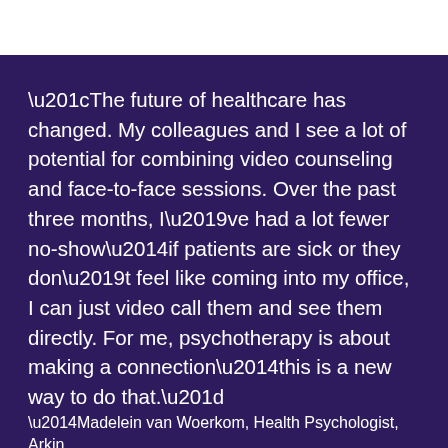“The future of healthcare has changed. My colleagues and I see a lot of potential for combining video counseling and face-to-face sessions. Over the past three months, I’ve had a lot fewer no-show—if patients are sick or they don’t feel like coming into my office, I can just video call them and see them directly. For me, psychotherapy is about making a connection—this is a new way to do that.”
—Madelein van Woerkom, Health Psychologist, Arkin